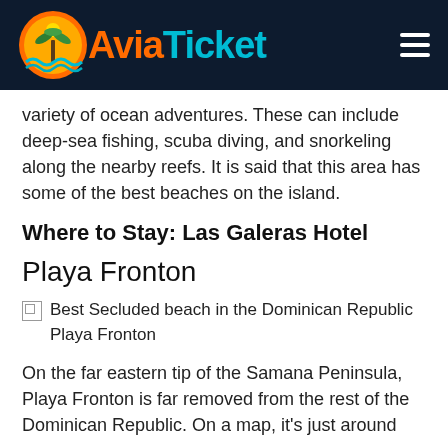[Figure (logo): AviaTicket logo with palm tree/sun/wave icon on dark navy header background]
variety of ocean adventures. These can include deep-sea fishing, scuba diving, and snorkeling along the nearby reefs. It is said that this area has some of the best beaches on the island.
Where to Stay: Las Galeras Hotel
Playa Fronton
[Figure (photo): Best Secluded beach in the Dominican Republic Playa Fronton (image broken/not loaded)]
On the far eastern tip of the Samana Peninsula, Playa Fronton is far removed from the rest of the Dominican Republic. On a map, it's just around the corner from the beach in Playa F...